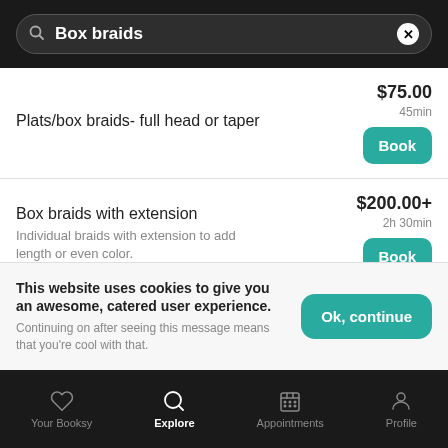Box braids
Plats/box braids- full head or taper
$75.00 · 45min
Box braids with extension
Individual braids with extension to add length or even color.
$200.00+ · 2h 30min
This website uses cookies to give you an awesome, catered user experience. Continuing on after seeing this message means that you're cool with that.
Your Booksy | Explore | Appointments | Profile